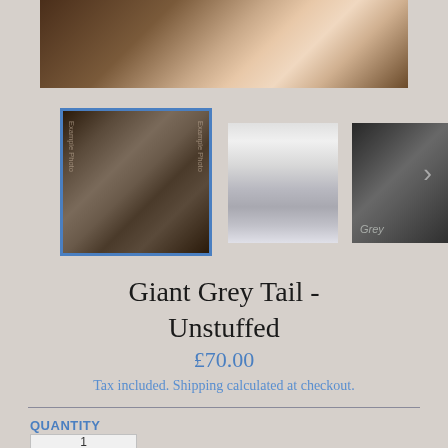[Figure (photo): Main product photo showing a grey fur tail held by a person, displayed at top of product page]
[Figure (photo): Three product thumbnail images: first (selected with blue border) shows grey fur tail example photo, second shows white fur tail, third shows grey fabric texture labeled 'Grey']
Giant Grey Tail - Unstuffed
£70.00
Tax included. Shipping calculated at checkout.
QUANTITY